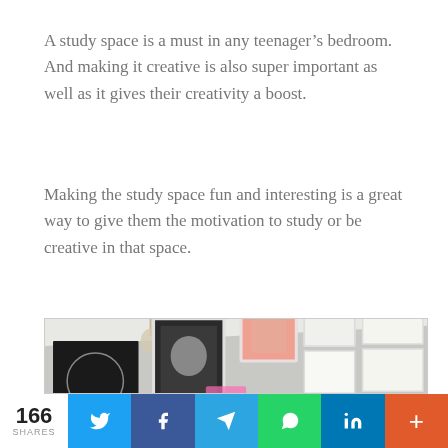A study space is a must in any teenager’s bedroom. And making it creative is also super important as well as it gives their creativity a boost.
Making the study space fun and interesting is a great way to give them the motivation to study or be creative in that space.
[Figure (photo): A teenager's bedroom with a gallery wall featuring posters, framed art prints, hanging macrame plant holder, and decorative items on a grey wall.]
166 SHARES | Twitter | Facebook | Telegram | WhatsApp | LinkedIn | More